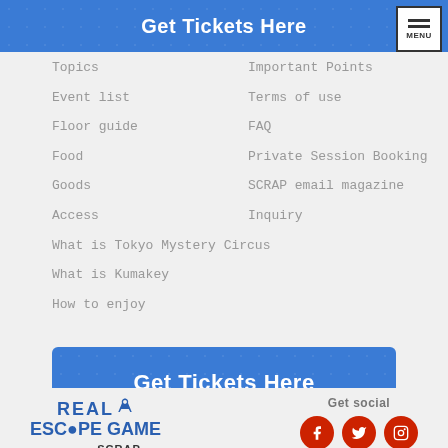Get Tickets Here
Topics
Event list
Floor guide
Food
Goods
Access
What is Tokyo Mystery Circus
What is Kumakey
How to enjoy
Important Points
Terms of use
FAQ
Private Session Booking
SCRAP email magazine
Inquiry
[Figure (other): Get Tickets Here blue button/banner with decorative circle pattern background]
Get social
[Figure (logo): Real Escape Game Created by SCRAP logo in blue]
[Figure (other): Social media icons: Facebook, Twitter, Instagram in red circles]